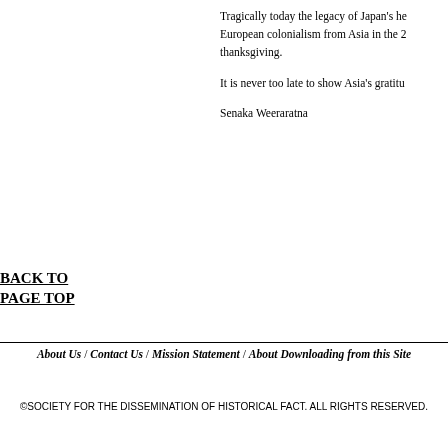Tragically today the legacy of Japan's he European colonialism from Asia in the 2 thanksgiving.
It is never too late to show Asia's gratitu
Senaka Weeraratna
BACK TO
PAGE TOP
About Us / Contact Us / Mission Statement / About Downloading from this Site
©SOCIETY FOR THE DISSEMINATION OF HISTORICAL FACT. ALL RIGHTS RESERVED.